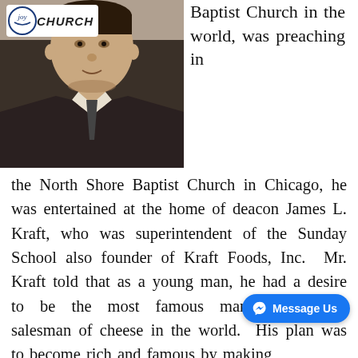[Figure (photo): Black and white portrait photograph of a man in a suit and tie, with Joy Church logo overlay in top left corner]
Baptist Church in the world, was preaching in the North Shore Baptist Church in Chicago, he was entertained at the home of deacon James L. Kraft, who was superintendent of the Sunday School also founder of Kraft Foods, Inc. Mr. Kraft told that as a young man, he had a desire to be the most famous manufacturer and salesman of cheese in the world. His plan was to become rich and famous by making